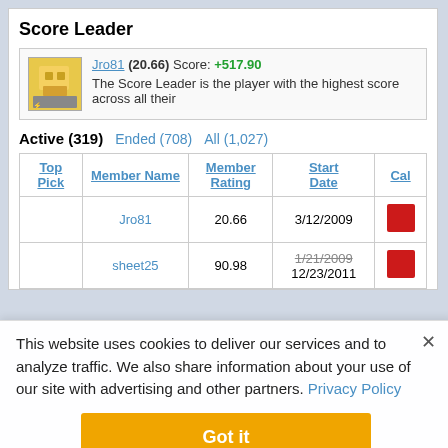Score Leader
Jro81 (20.66) Score: +517.90 The Score Leader is the player with the highest score across all their
Active (319)   Ended (708)   All (1,027)
| Top Pick | Member Name | Member Rating | Start Date | Cal |
| --- | --- | --- | --- | --- |
|  | Jro81 | 20.66 | 3/12/2009 |  |
|  | sheet25 | 90.98 | 1/21/2009 12/23/2011 |  |
This website uses cookies to deliver our services and to analyze traffic. We also share information about your use of our site with advertising and other partners. Privacy Policy
Got it
Cookie Settings